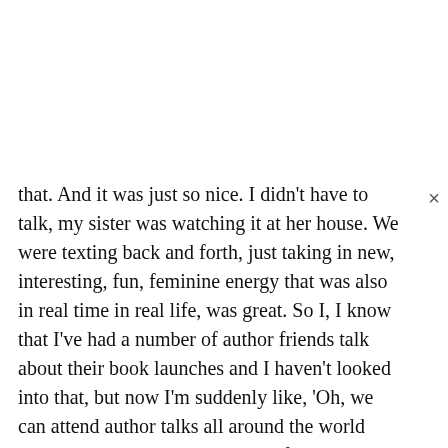that. And it was just so nice. I didn't have to talk, my sister was watching it at her house. We were texting back and forth, just taking in new, interesting, fun, feminine energy that was also in real time in real life, was great. So I, I know that I've had a number of author friends talk about their book launches and I haven't looked into that, but now I'm suddenly like, 'Oh, we can attend author talks all around the world now.' Like, 'This is something to fill my schedule with.' So I feel like I need to, I feel like that creative muscle is needing to be, it is stretching. It